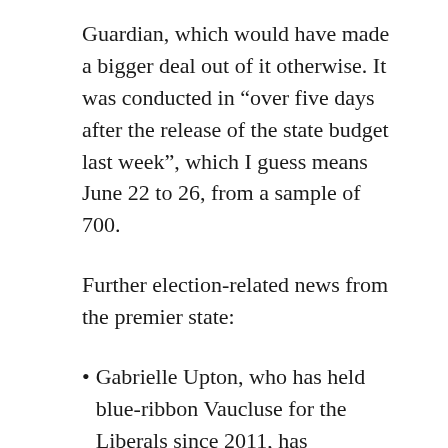Guardian, which would have made a bigger deal out of it otherwise. It was conducted in “over five days after the release of the state budget last week”, which I guess means June 22 to 26, from a sample of 700.
Further election-related news from the premier state:
• Gabrielle Upton, who has held blue-ribbon Vaucluse for the Liberals since 2011, has announced she will not contest the next election in March. The Sydney Morning Herald reports possible contenders for Liberal preselection include Daisy Turnbull, teacher, author and daughter of Malcolm and Lucy